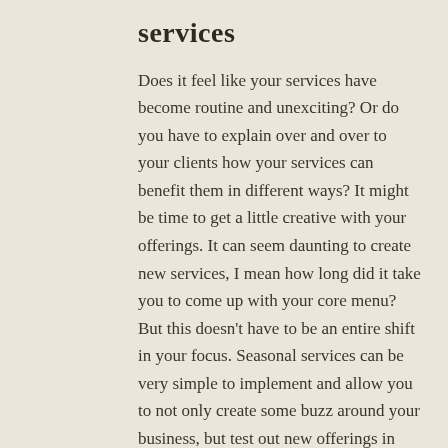services
Does it feel like your services have become routine and unexciting?  Or do you have to explain over and over to your clients how your services can benefit them in different ways?  It might be time to get a little creative with your offerings.  It can seem daunting to create new services, I mean how long did it take you to come up with your core menu?  But this doesn't have to be an entire shift in your focus.  Seasonal services can be very simple to implement and allow you to not only create some buzz around your business, but test out new offerings in real life without much investment.